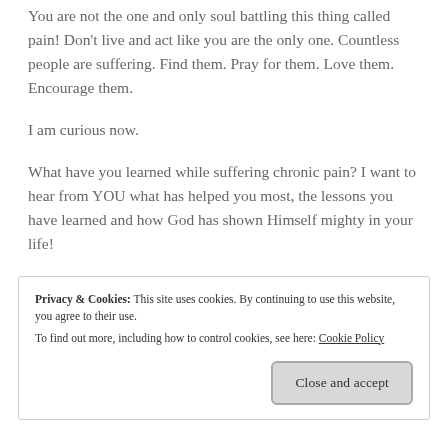You are not the one and only soul battling this thing called pain! Don't live and act like you are the only one. Countless people are suffering. Find them. Pray for them. Love them. Encourage them.
I am curious now.
What have you learned while suffering chronic pain? I want to hear from YOU what has helped you most, the lessons you have learned and how God has shown Himself mighty in your life!
Privacy & Cookies: This site uses cookies. By continuing to use this website, you agree to their use.
To find out more, including how to control cookies, see here: Cookie Policy
Close and accept